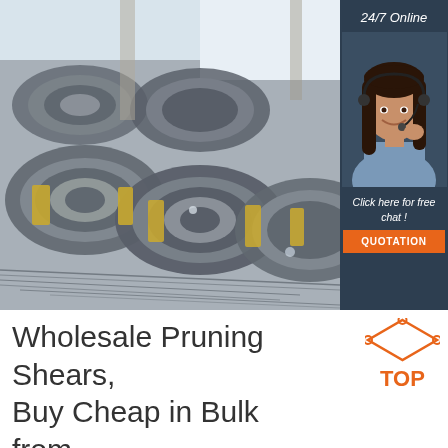[Figure (photo): Coils of steel wire rod stacked in a warehouse, with yellow tape binding bundles. On the right side, a customer service chat widget shows '24/7 Online', a smiling woman with a headset, 'Click here for free chat!' text, and an orange QUOTATION button, all on a dark slate background.]
Wholesale Pruning Shears, Buy Cheap in Bulk from China ...